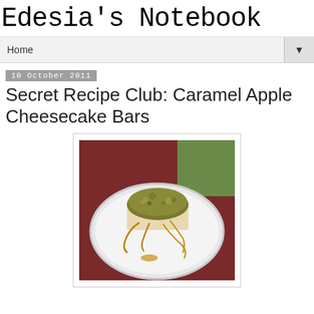Edesia's Notebook
Home
10 October 2011
Secret Recipe Club: Caramel Apple Cheesecake Bars
[Figure (photo): A caramel apple cheesecake bar on a white plate, topped with crumble topping and drizzled with caramel sauce]